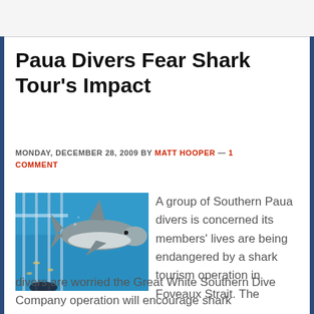Paua Divers Fear Shark Tour’s Impact
MONDAY, DECEMBER 28, 2009 BY MATT HOOPER — 1 COMMENT
[Figure (photo): Underwater photo showing a great white shark swimming near a glass viewing panel with people watching from inside]
A group of Southern Paua divers is concerned its members' lives are being endangered by a shark tourism operation in Foveaux Strait. The divers are worried the Great White Southern Dive Company operation will encourage shark